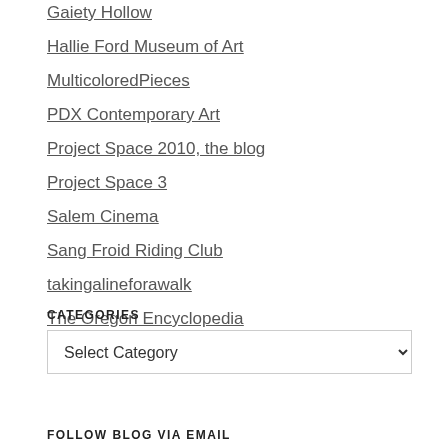Gaiety Hollow
Hallie Ford Museum of Art
MulticoloredPieces
PDX Contemporary Art
Project Space 2010, the blog
Project Space 3
Salem Cinema
Sang Froid Riding Club
takingalineforawalk
The Oregon Encyclopedia
WordPress.com
CATEGORIES
Select Category
FOLLOW BLOG VIA EMAIL